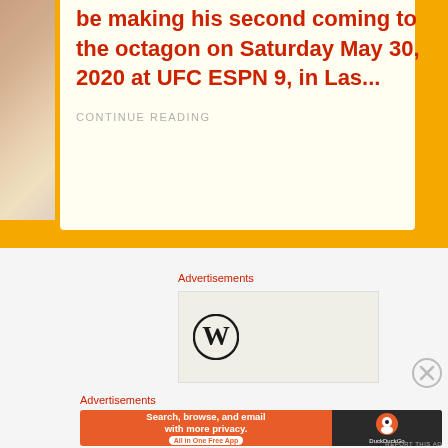be making his second coming to the octagon on Saturday May 30, 2020 at UFC ESPN 9, in Las...
CONTINUE READING
Advertisements
[Figure (logo): WordPress logo - circular black and white W icon]
[Figure (other): Close/dismiss button - circle with X]
Advertisements
[Figure (other): DuckDuckGo advertisement banner: Search, browse, and email with more privacy. All in One Free App]
REPORT THIS AD